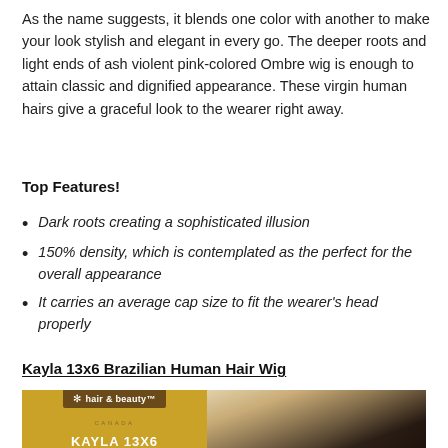As the name suggests, it blends one color with another to make your look stylish and elegant in every go. The deeper roots and light ends of ash violent pink-colored Ombre wig is enough to attain classic and dignified appearance. These virgin human hairs give a graceful look to the wearer right away.
Top Features!
Dark roots creating a sophisticated illusion
150% density, which is contemplated as the perfect for the overall appearance
It carries an average cap size to fit the wearer's head properly
Kayla 13x6 Brazilian Human Hair Wig
[Figure (photo): Product image showing Kayla 13x6 Brazilian Human Hair Wig with a golden yellow background on the left displaying the hair & beauty Canada logo and KAYLA 13X6 text, and on the right a photo of a woman with long highlighted blonde/brunette hair.]